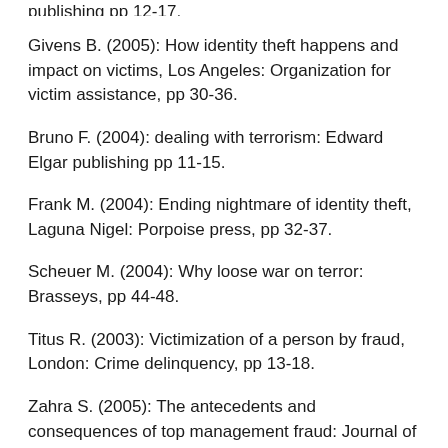publishing pp 12-17.
Givens B. (2005): How identity theft happens and impact on victims, Los Angeles: Organization for victim assistance, pp 30-36.
Bruno F. (2004): dealing with terrorism: Edward Elgar publishing pp 11-15.
Frank M. (2004): Ending nightmare of identity theft, Laguna Nigel: Porpoise press, pp 32-37.
Scheuer M. (2004): Why loose war on terror: Brasseys, pp 44-48.
Titus R. (2003): Victimization of a person by fraud, London: Crime delinquency, pp 13-18.
Zahra S. (2005): The antecedents and consequences of top management fraud: Journal of management, pp 20-23.
Walker G. (2003): war, terrorism and freedom: National review books, pp 13-19.